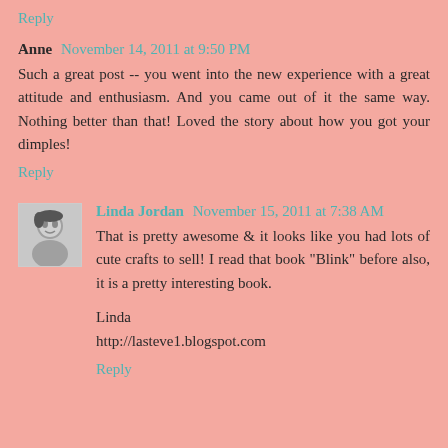Reply
Anne  November 14, 2011 at 9:50 PM
Such a great post -- you went into the new experience with a great attitude and enthusiasm. And you came out of it the same way. Nothing better than that! Loved the story about how you got your dimples!
Reply
Linda Jordan  November 15, 2011 at 7:38 AM
That is pretty awesome & it looks like you had lots of cute crafts to sell! I read that book "Blink" before also, it is a pretty interesting book.

Linda
http://lasteve1.blogspot.com
Reply